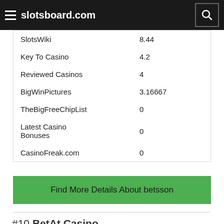slotsboard.com
| SlotsWiki | 8.44 |
| Key To Casino | 4.2 |
| Reviewed Casinos | 4 |
| BigWinPictures | 3.16667 |
| TheBigFreeChipList | 0 |
| Latest Casino Bonuses | 0 |
| CasinoFreak.com | 0 |
Find More Details About betsson
#10 BetAt Casino
Home Page
United States Players Restricted